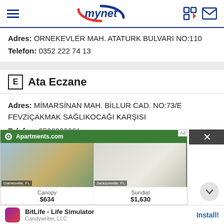mynet
Adres: ORNEKEVLER MAH. ATATURK BULVARI NO:110
Telefon: 0352 222 74 13
E Ata Eczane
Adres: MİMARSİNAN MAH. BİLLUR CAD. NO:73/E FEVZİÇAKMAK SAĞLIKOCAĞI KARŞISI
Telefon: 3522232291
[Figure (screenshot): Apartments.com advertisement overlay showing two apartment images (Gainesville FL and Jacksonville FL), with prices Canopy $634 and Sundial $1,630]
[Figure (screenshot): Mobile app install banner for BitLife - Life Simulator by Candywriter, LLC with Install button]